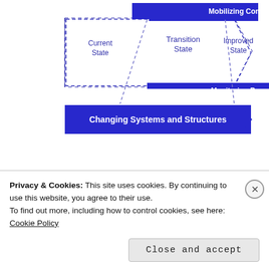[Figure (flowchart): Change management diagram showing Current State, Transition State, and Improved State connected by a large arrow. Inside are three blue arrow banners: 'Mobilizing Commitment' at top, 'Making Change Last' in middle, 'Monitoring Progress' below. Bottom banner reads 'Changing Systems and Structures'.]
☆☆☆☆☆ ℹ Rate This
This is a much needed dimension of recent times. Digital marketing requires stringent change management processes. Enjoy the
Privacy & Cookies: This site uses cookies. By continuing to use this website, you agree to their use.
To find out more, including how to control cookies, see here:
Cookie Policy
Close and accept